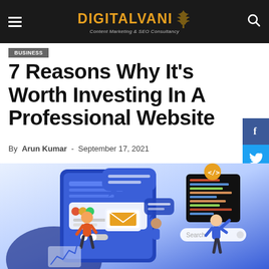DIGITALVANI – Content Marketing & SEO Consultancy
BUSINESS
7 Reasons Why It's Worth Investing In A Professional Website
By Arun Kumar - September 17, 2021
[Figure (illustration): Website design illustration showing people interacting with a large browser/app interface with chat bubbles, email, code editor, and UI elements on a blue background]